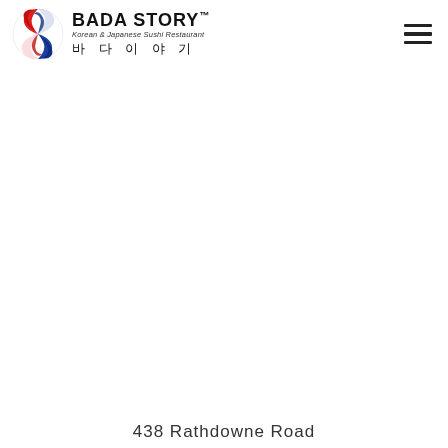[Figure (logo): Bada Story restaurant logo with circular red and blue swirl emblem, text 'BADA STORY™ Korean & Japanese Sushi Restaurant' and Korean characters '바 다 이 야 기']
[Figure (other): Hamburger menu icon (three horizontal lines) in top right corner]
438 Rathdowne Road